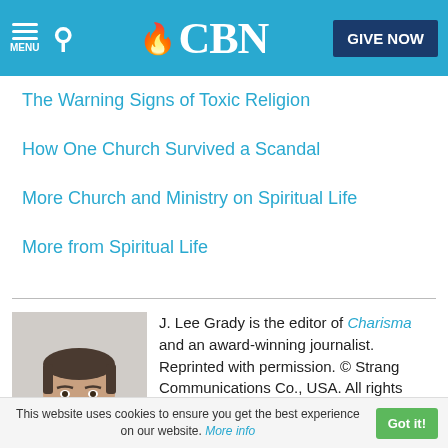CBN — MENU | Search | GIVE NOW
The Warning Signs of Toxic Religion
How One Church Survived a Scandal
More Church and Ministry on Spiritual Life
More from Spiritual Life
[Figure (photo): Headshot of J. Lee Grady, a middle-aged man smiling, wearing a dark shirt, against a light background.]
J. Lee Grady is the editor of Charisma and an award-winning journalist. Reprinted with permission. © Strang Communications Co., USA. All rights reserved. Learn more at
This website uses cookies to ensure you get the best experience on our website. More info | Got it!